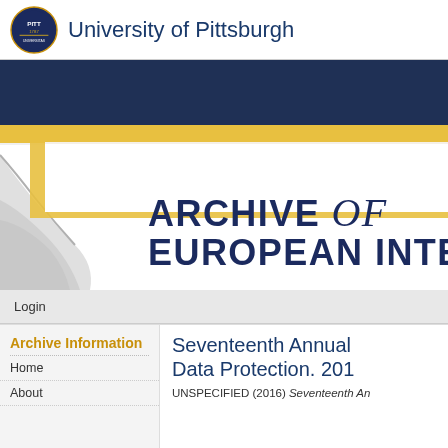University of Pittsburgh
[Figure (screenshot): Archive of European Integration website banner showing page curl graphic with dark navy background, gold/yellow accent stripe, and large bold text reading 'ARCHIVE of EUROPEAN INTE' (truncated). The banner is a decorative website header.]
Login
Archive Information
Home
About
Seventeenth Annual Data Protection. 201
UNSPECIFIED (2016) Seventeenth Ann